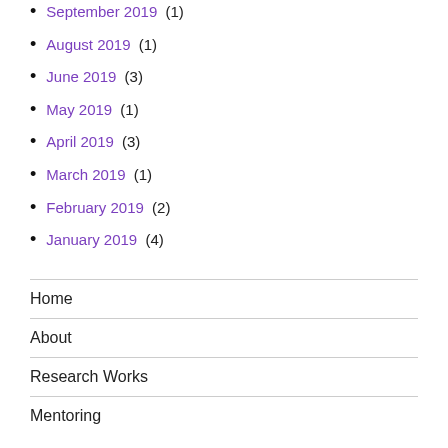September 2019 (1)
August 2019 (1)
June 2019 (3)
May 2019 (1)
April 2019 (3)
March 2019 (1)
February 2019 (2)
January 2019 (4)
Home
About
Research Works
Mentoring